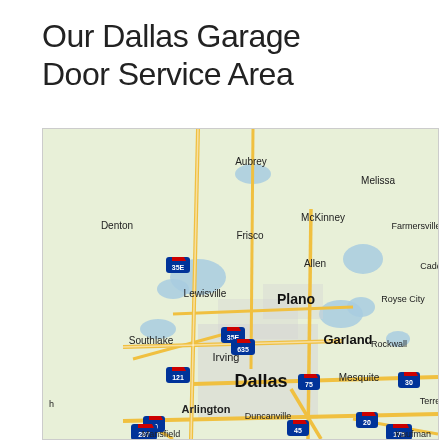Our Dallas Garage Door Service Area
[Figure (map): Google Maps view of the Dallas–Fort Worth metroplex area showing cities including Dallas, Plano, Garland, Irving, Arlington, Frisco, McKinney, Lewisville, Southlake, Mesquite, Rockwall, Denton, Aubrey, Melissa, Allen, Farmersville, Royse City, Duncanville, Mansfield, Kaufman, and Terrell. Major highways shown include I-35E, I-635, Hwy 75, I-30, I-20, Hwy 121, Hwy 287, I-45, Hwy 175.]